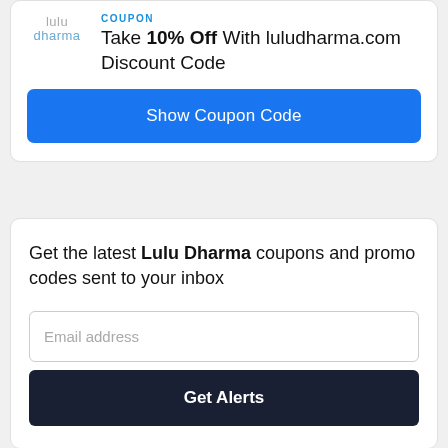COUPON
Take 10% Off With luludharma.com Discount Code
Show Coupon Code
Get the latest Lulu Dharma coupons and promo codes sent to your inbox
Email address
Get Alerts